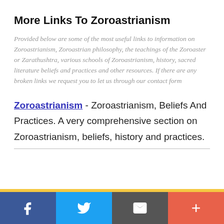More Links To Zoroastrianism
Provided below are some of the most useful links to information on Zoroastrianism, Zoroastrian philosophy, the teachings of the Zoroaster or Zarathushtra, various schools of Zoroastrianism, history, sacred literature beliefs and practices and other resources. If there are any broken links we request you to let us through our contact form
Zoroastrianism - Zoroastrianism, Beliefs And Practices. A very comprehensive section on Zoroastrianism, beliefs, history and practices.
[Figure (other): Social media sharing bar with Facebook, Twitter, Email, and plus buttons]